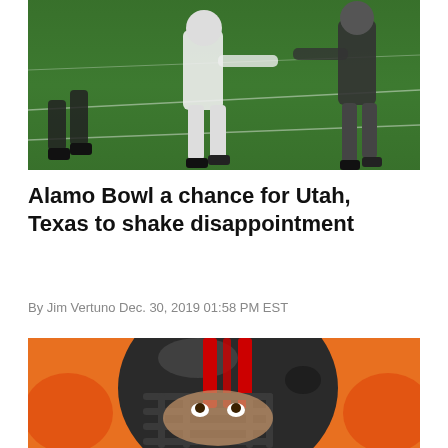[Figure (photo): Football players on a green turf field, showing players in white uniforms running during a game]
Alamo Bowl a chance for Utah, Texas to shake disappointment
By Jim Vertuno Dec. 30, 2019 01:58 PM EST
[Figure (photo): Close-up of a football player wearing a black helmet with red stripes and a face mask, looking upward, with orange background]